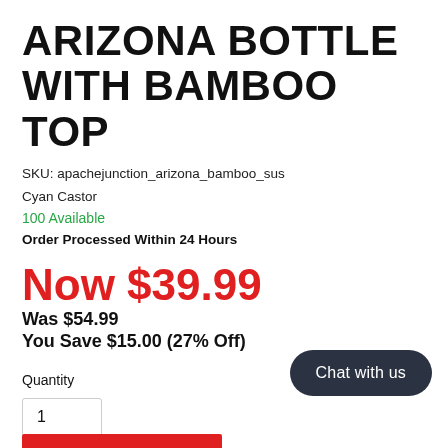ARIZONA BOTTLE WITH BAMBOO TOP
SKU: apachejunction_arizona_bamboo_sus
Cyan Castor
100 Available
Order Processed Within 24 Hours
Now $39.99
Was $54.99
You Save $15.00 (27% Off)
Quantity
1
Chat with us